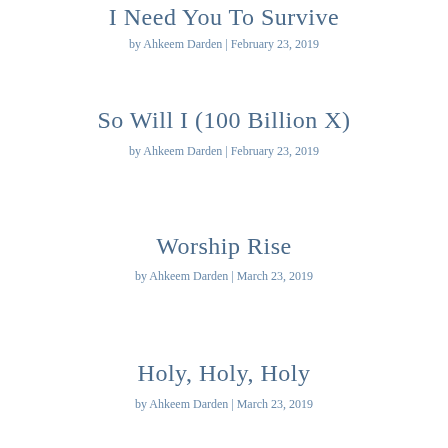I Need You To Survive
by Ahkeem Darden | February 23, 2019
So Will I (100 Billion X)
by Ahkeem Darden | February 23, 2019
Worship Rise
by Ahkeem Darden | March 23, 2019
Holy, Holy, Holy
by Ahkeem Darden | March 23, 2019